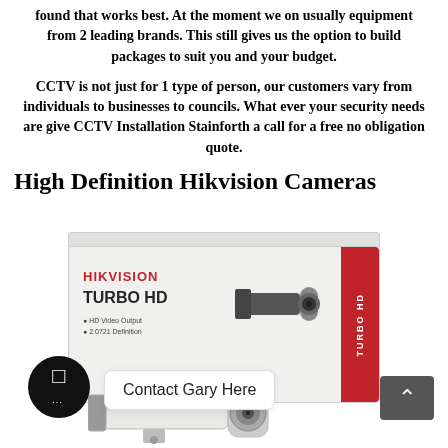found that works best. At the moment we on usually equipment from 2 leading brands. This still gives us the option to build packages to suit you and your budget.
CCTV is not just for 1 type of person, our customers vary from individuals to businesses to councils. What ever your security needs are give CCTV Installation Stainforth a call for a free no obligation quote.
High Definition Hikvision Cameras
[Figure (photo): Hikvision Turbo HD camera product box with a CCTV bullet camera in front, overlaid with a chat button, 'Contact Gary Here' bubble, and a scroll-up arrow button.]